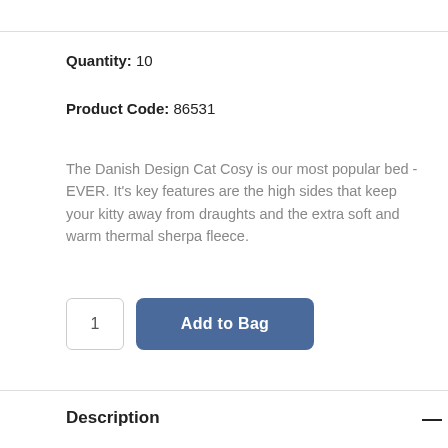Quantity: 10
Product Code: 86531
The Danish Design Cat Cosy is our most popular bed - EVER. It's key features are the high sides that keep your kitty away from draughts and the extra soft and warm thermal sherpa fleece.
1  Add to Bag
Description